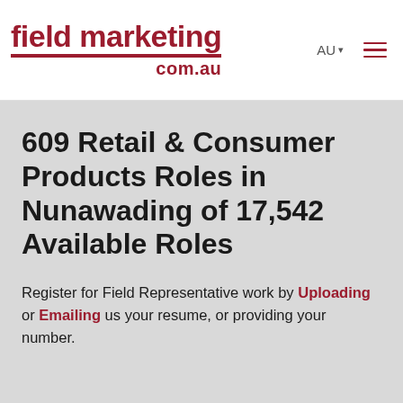field marketing com.au | AU ☰
609 Retail & Consumer Products Roles in Nunawading of 17,542 Available Roles
Register for Field Representative work by Uploading or Emailing us your resume, or providing your number.